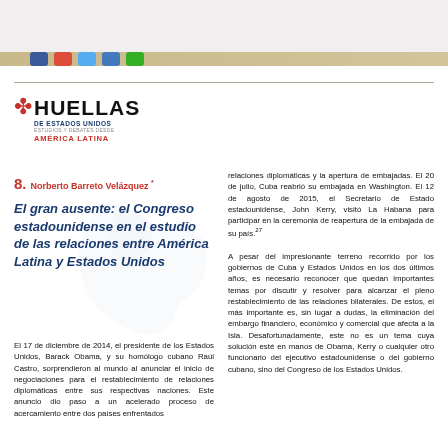[Figure (logo): Huellas de Estados Unidos, Estudios y Debates desde América Latina logo with red star]
8.  Norberto Barreto Velázquez *
El gran ausente: el Congreso estadounidense en el estudio de las relaciones entre América Latina y Estados Unidos
El 17 de diciembre de 2014, el presidente de los Estados Unidos, Barack Obama, y su homólogo cubano Raúl Castro, sorprendieron al mundo al anunciar el inicio de negociaciones para el restablecimiento de relaciones diplomáticas entre sus respectivas naciones. Este anuncio dio paso a un acelerado proceso de acercamiento entre dos países enfrentados
relaciones diplomáticas y la apertura de embajadas. El 20 de julio, Cuba reabrió su embajada en Washington. El 12 de agosto de 2015, el Secretario de Estado estadounidense, John Kerry, visitó La Habana para participar en la ceremonia de reapertura de la embajada de su país.²⁷
A pesar del impresionante terreno recorrido por los gobiernos de Cuba y Estados Unidos en los dos últimos años, es necesario reconocer que quedan importantes temas por discutir y resolver para alcanzar el pleno restablecimiento de las relaciones bilaterales. De estos, el más importante es, sin lugar a dudas, la eliminación del embargo financiero, económico y comercial que afecta a la Isla. Desafortunadamente, este no es un tema cuya solución esté en manos de Obama, Kerry o cualquier otro funcionario del ejecutivo estadounidense o del gobierno cubano, sino del Congreso de los Estados Unidos.